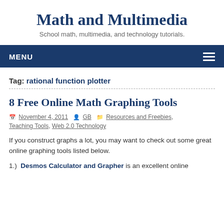Math and Multimedia
School math, multimedia, and technology tutorials.
Tag: rational function plotter
8 Free Online Math Graphing Tools
November 4, 2011  GB  Resources and Freebies, Teaching Tools, Web 2.0 Technology
If you construct graphs a lot, you may want to check out some great online graphing tools listed below.
1.) Desmos Calculator and Grapher is an excellent online